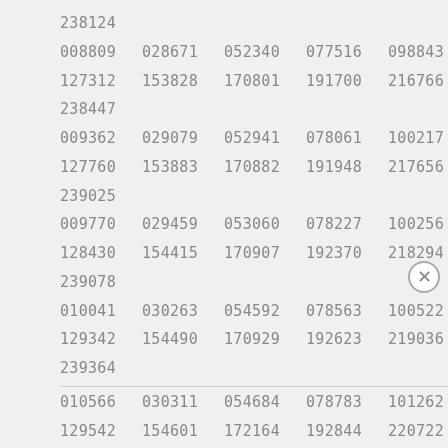238124
008809 028671 052340 077516 098843
127312 153828 170801 191700 216766
238447
009362 029079 052941 078061 100217
127760 153883 170882 191948 217656
239025
009770 029459 053060 078227 100256
128430 154415 170907 192370 218294
239078
010041 030263 054592 078563 100522
129342 154490 170929 192623 219036
239364
010566 030311 054684 078783 101262
129542 154601 172164 192844 220722
239574
010844 030666 055330 079318 102046